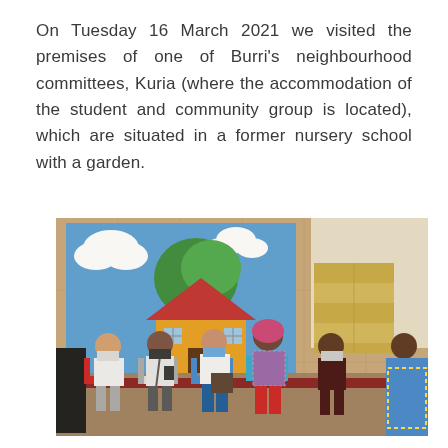On Tuesday 16 March 2021 we visited the premises of one of Burri's neighbourhood committees, Kuria (where the accommodation of the student and community group is located), which are situated in a former nursery school with a garden.
[Figure (photo): Group of people wearing face masks seated on chairs inside a room. Behind them is a colourful mural painting of a house with a tree and clouds. Stacked boxes of goods are visible in the background. The group includes women in white shirts, a woman in a patterned dress with a pink headwrap, and another person partially visible on the right.]